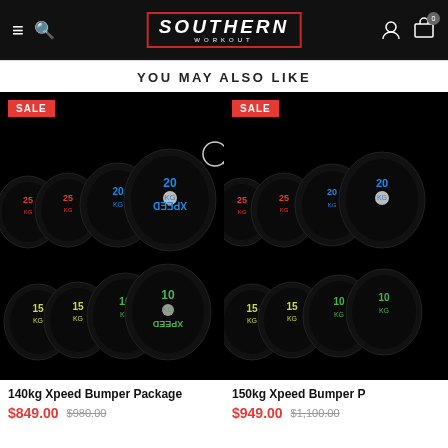Southern Workout — Navigation header
YOU MAY ALSO LIKE
[Figure (photo): 140kg Xpeed Bumper Package — black rubber weight plates with coloured XPEED lettering (25kg red, 20kg blue) arranged in a stack, with SALE badge]
[Figure (photo): 150kg Xpeed Bumper Package — black rubber weight plates with coloured XPEED lettering (25kg red, 20kg blue) arranged in a stack, with SALE badge, partially cropped]
140kg Xpeed Bumper Package
$849.00  $980.00
150kg Xpeed Bumper P
$949.00  $1,100.00